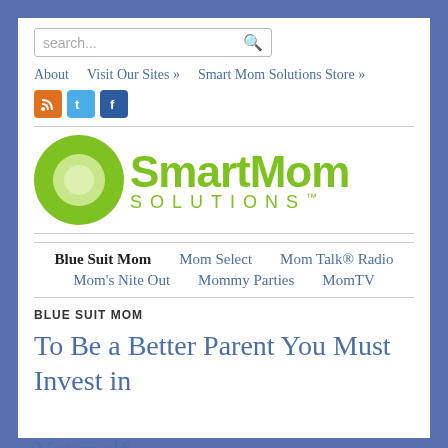[Figure (screenshot): Search bar with placeholder text 'search...' and a magnifying glass icon]
About   Visit Our Sites »   Smart Mom Solutions Store »
[Figure (logo): Smart Mom Solutions logo with green circle and bold green text]
Blue Suit Mom   Mom Select   Mom Talk® Radio   Mom's Nite Out   Mommy Parties   MomTV
BLUE SUIT MOM
To Be a Better Parent You Must Invest in Yourself
on February 13, 2015 at 9:37 pm